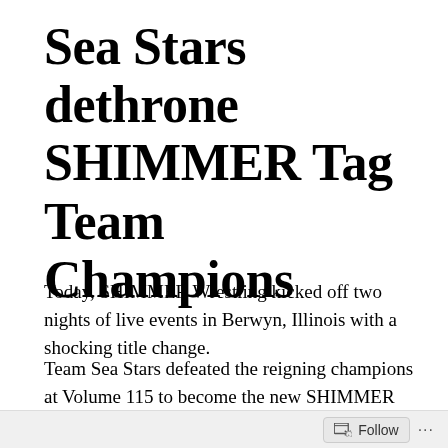Sea Stars dethrone SHIMMER Tag Team Champions
Today, SHIMMER Wrestling kicked off two nights of live events in Berwyn, Illinois with a shocking title change.
Team Sea Stars defeated the reigning champions at Volume 115 to become the new SHIMMER Tag Team Champions.
New SHIMMER Tag Team Champions
Follow